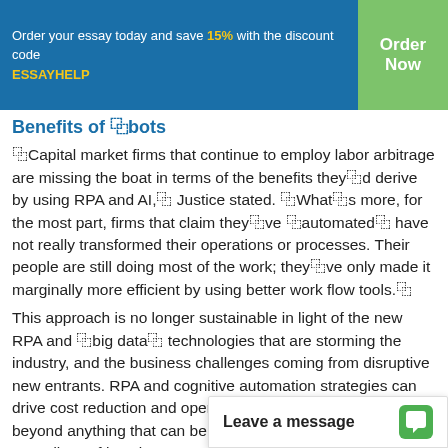Order your essay today and save 15% with the discount code ESSAYHELP | Order Now
Benefits of ➻bots
➻Capital market firms that continue to employ labor arbitrage are missing the boat in terms of the benefits they➻d derive by using RPA and AI,➻ Justice stated. ➻What➻s more, for the most part, firms that claim they➻ve ➻automated➻ have not really transformed their operations or processes. Their people are still doing most of the work; they➻ve only made it marginally more efficient by using better work flow tools.➻
This approach is no longer sustainable in light of the new RPA and ➻big data➻ technologies that are storming the industry, and the business challenges coming from disruptive new entrants. RPA and cognitive automation strategies can drive cost reduction and operational improvement well beyond anything that can be attained with ➻cubicle farms,❷ regardless of location.
Specifically, they can help